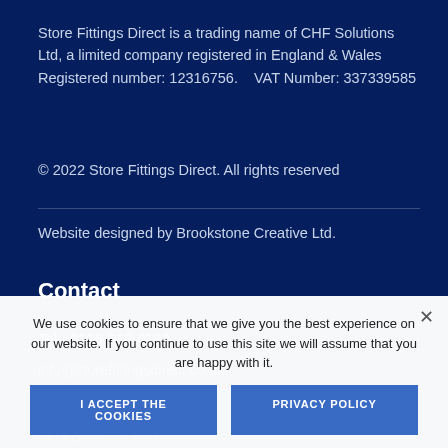Store Fittings Direct is a trading name of CHF Solutions Ltd, a limited company registered in England & Wales Registered number: 12316756.    VAT Number: 337339585
© 2022 Store Fittings Direct. All rights reserved
Website designed by Brookstone Creative Ltd.
Contact
Tel : 0116 318 4182
info@storefittingsdirect.co.uk
CHF ... Store Fit...
Pera Business Park,
We use cookies to ensure that we give you the best experience on our website. If you continue to use this site we will assume that you are happy with it.